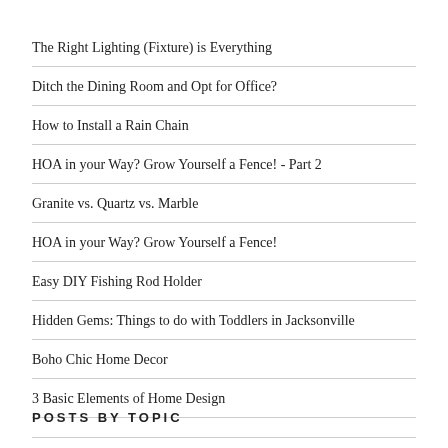The Right Lighting (Fixture) is Everything
Ditch the Dining Room and Opt for Office?
How to Install a Rain Chain
HOA in your Way? Grow Yourself a Fence! - Part 2
Granite vs. Quartz vs. Marble
HOA in your Way? Grow Yourself a Fence!
Easy DIY Fishing Rod Holder
Hidden Gems: Things to do with Toddlers in Jacksonville
Boho Chic Home Decor
3 Basic Elements of Home Design
POSTS BY TOPIC